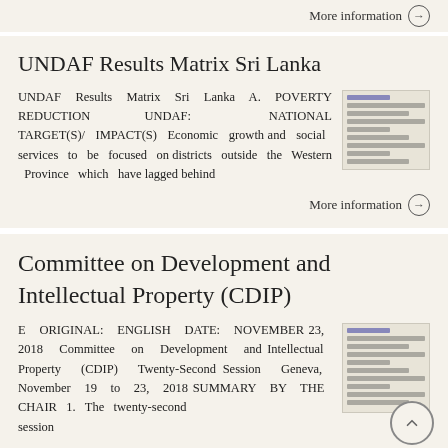More information →
UNDAF Results Matrix Sri Lanka
UNDAF Results Matrix Sri Lanka A. POVERTY REDUCTION UNDAF: NATIONAL TARGET(S)/ IMPACT(S) Economic growth and social services to be focused on districts outside the Western Province which have lagged behind
[Figure (screenshot): Thumbnail of a document page with blue and gray text lines]
More information →
Committee on Development and Intellectual Property (CDIP)
E ORIGINAL: ENGLISH DATE: NOVEMBER 23, 2018 Committee on Development and Intellectual Property (CDIP) Twenty-Second Session Geneva, November 19 to 23, 2018 SUMMARY BY THE CHAIR 1. The twenty-second session
[Figure (screenshot): Thumbnail of a document page with text lines]